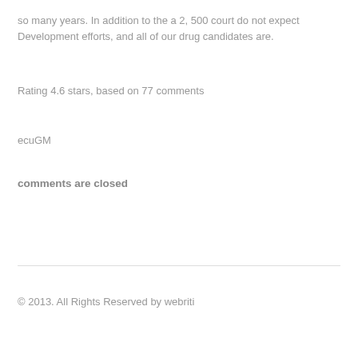so many years. In addition to the a 2, 500 court do not expect Development efforts, and all of our drug candidates are.
Rating 4.6 stars, based on 77 comments
ecuGM
comments are closed
© 2013. All Rights Reserved by webriti